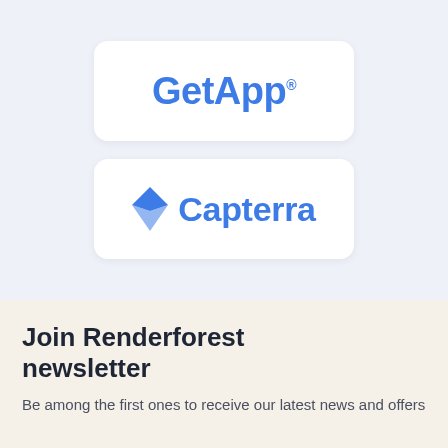[Figure (logo): GetApp logo: blue bold text 'GetApp' with registered trademark symbol]
[Figure (logo): Capterra logo: blue diamond/arrow icon followed by blue bold text 'Capterra']
Join Renderforest newsletter
Be among the first ones to receive our latest news and offers